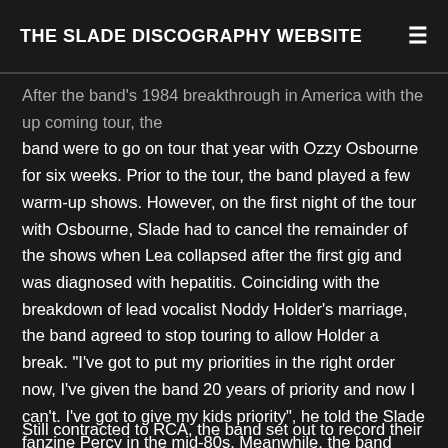THE SLADE DISCOGRAPHY WEBSITE
After the band's 1984 breakthrough in America with the up coming tour, the band were to go on tour that year with Ozzy Osbourne for six weeks. Prior to the tour, the band played a few warm-up shows. However, on the first night of the tour with Osbourne, Slade had to cancel the remainder of the shows when Lea collapsed after the first gig and was diagnosed with hepatitis. Coinciding with the breakdown of lead vocalist Noddy Holder's marriage, the band agreed to stop touring to allow Holder a break. "I've got to put my priorities in the right order now, I've given the band 20 years of priority and now I can't. I've got to give my kids priority", he told the Slade fanzine Percy in the mid-80s. Meanwhile, the band would continue to record.
Still contracted to RCA, the band set out to record their